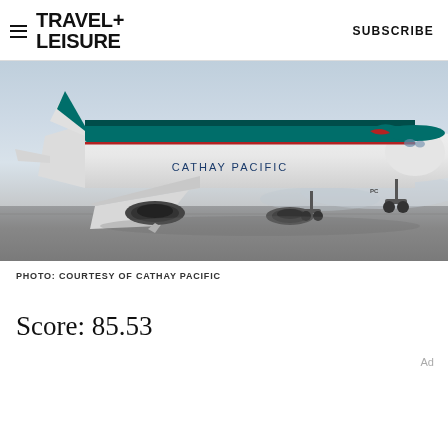TRAVEL+LEISURE  SUBSCRIBE
[Figure (photo): Cathay Pacific aircraft (wide-body jet) on tarmac, side view showing white fuselage with teal/green stripe and brushwing logo, text 'CATHAY PACIFIC' on fuselage, misty airport background]
PHOTO: COURTESY OF CATHAY PACIFIC
Score: 85.53